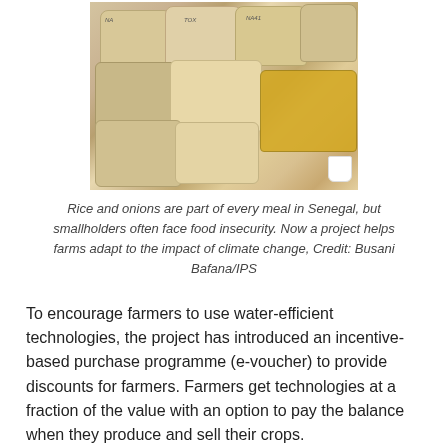[Figure (photo): Photograph of rice bags (beige/tan colored sacks and yellow sacks) piled together, with handwritten labels on them. A small white cup is visible at the bottom right.]
Rice and onions are part of every meal in Senegal, but smallholders often face food insecurity. Now a project helps farms adapt to the impact of climate change, Credit: Busani Bafana/IPS
To encourage farmers to use water-efficient technologies, the project has introduced an incentive-based purchase programme (e-voucher) to provide discounts for farmers. Farmers get technologies at a fraction of the value with an option to pay the balance when they produce and sell their crops.